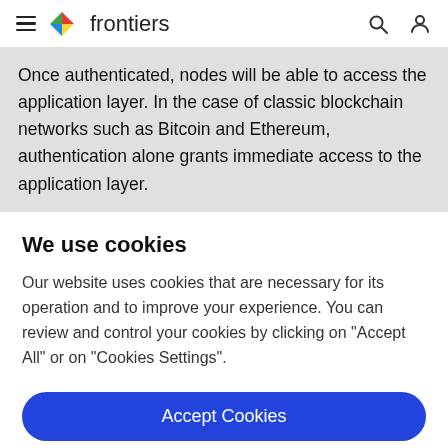frontiers
Once authenticated, nodes will be able to access the application layer. In the case of classic blockchain networks such as Bitcoin and Ethereum, authentication alone grants immediate access to the application layer.
We use cookies
Our website uses cookies that are necessary for its operation and to improve your experience. You can review and control your cookies by clicking on "Accept All" or on "Cookies Settings".
Accept Cookies
Cookies Settings